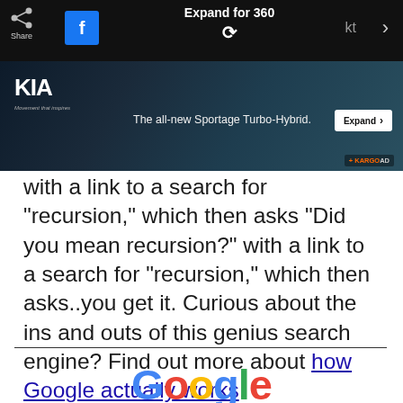[Figure (screenshot): Kia advertisement banner for the all-new Sportage Turbo-Hybrid with social share icons and Expand for 360 button at top, car image in dark background]
with a link to a search for “recursion,” which then asks “Did you mean recursion?” with a link to a search for “recursion,” which then asks..you get it. Curious about the ins and outs of this genius search engine? Find out more about how Google actually works.
[Figure (logo): Google logo in multicolor letters]